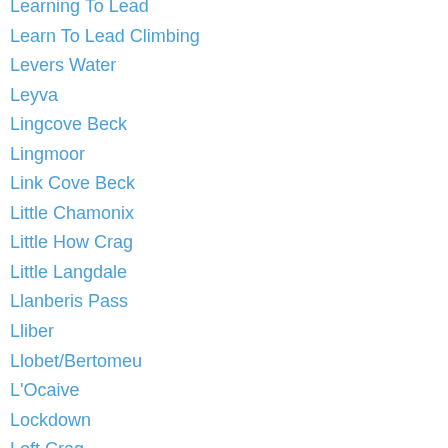Learning To Lead
Learn To Lead Climbing
Levers Water
Leyva
Lingcove Beck
Lingmoor
Link Cove Beck
Little Chamonix
Little How Crag
Little Langdale
Llanberis Pass
Lliber
Llobet/Bertomeu
L'Ocaive
Lockdown
Loft Crag
Long Scar
Longsleddale
Loughrigg
Lower Scout Crag
Low Water Beck